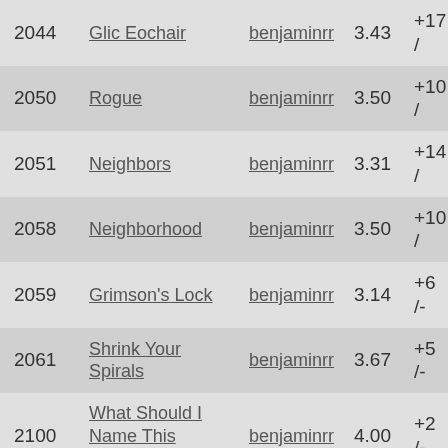| ID | Title | Author | Rating | Score |
| --- | --- | --- | --- | --- |
| 2044 | Glic Eochair | benjaminrr | 3.43 | +17 / |
| 2050 | Rogue | benjaminrr | 3.50 | +10 / |
| 2051 | Neighbors | benjaminrr | 3.31 | +14 / |
| 2058 | Neighborhood | benjaminrr | 3.50 | +10 / |
| 2059 | Grimson's Lock | benjaminrr | 3.14 | +6 /- |
| 2061 | Shrink Your Spirals | benjaminrr | 3.67 | +5 /- |
| 2100 | What Should I Name This Puzzle? | benjaminrr | 4.00 | +2 /- |
| 2105 | 7th column | benjaminrr | 3.25 | +3 /- |
| 2108 | (A+B) ÷ 2 = C | benjaminrr | 3.25 | +8 /- |
| 2260 | Spiral 4 | benjaminrr | 3.50 | +7 /- |